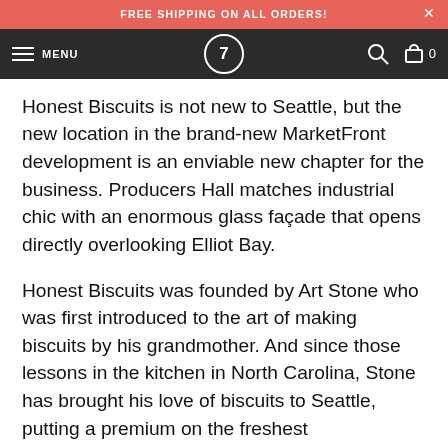FREE SHIPPING ON ALL ORDERS!
MENU  7  0
Honest Biscuits is not new to Seattle, but the new location in the brand-new MarketFront development is an enviable new chapter for the business. Producers Hall matches industrial chic with an enormous glass façade that opens directly overlooking Elliot Bay.
Honest Biscuits was founded by Art Stone who was first introduced to the art of making biscuits by his grandmother. And since those lessons in the kitchen in North Carolina, Stone has brought his love of biscuits to Seattle, putting a premium on the freshest ingredients and for her side of a good bl